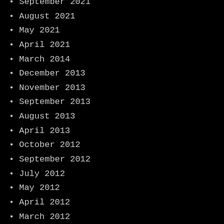September 2021
August 2021
May 2021
April 2021
March 2014
December 2013
November 2013
September 2013
August 2013
April 2013
October 2012
September 2012
July 2012
May 2012
April 2012
March 2012
February 2012
January 2012
December 2011
October 2011
September 2011